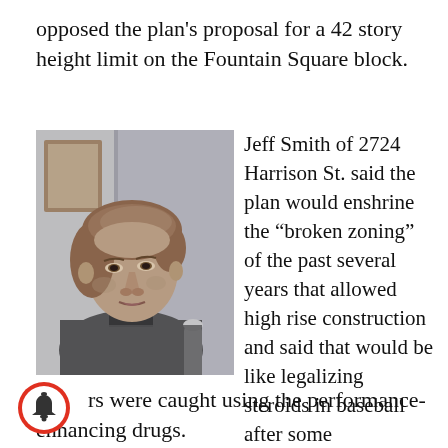opposed the plan's proposal for a 42 story height limit on the Fountain Square block.
[Figure (photo): Black and white photo of Jeff Smith, a middle-aged man with medium-length hair wearing a turtleneck sweater, speaking near a microphone.]
Jeff Smith of 2724 Harrison St. said the plan would enshrine the “broken zoning” of the past several years that allowed high rise construction and said that would be like legalizing steroids in baseball after some
rs were caught using the performance-enhancing drugs.